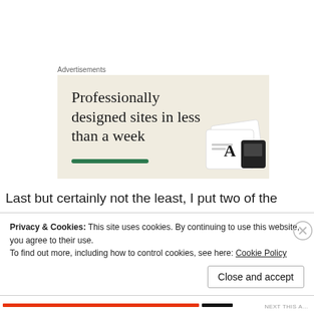Advertisements
[Figure (illustration): Advertisement banner with cream/beige background showing text 'Professionally designed sites in less than a week' with a green underline bar and mock design cards in bottom right corner.]
Last but certainly not the least, I put two of the greatest minds together, Iron Man and Mr. Fantastic.
Privacy & Cookies: This site uses cookies. By continuing to use this website, you agree to their use.
To find out more, including how to control cookies, see here: Cookie Policy
Close and accept